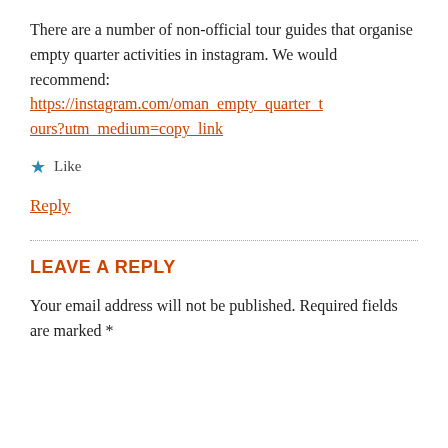There are a number of non-official tour guides that organise empty quarter activities in instagram. We would recommend: https://instagram.com/oman_empty_quarter_tours?utm_medium=copy_link
★ Like
Reply
LEAVE A REPLY
Your email address will not be published. Required fields are marked *